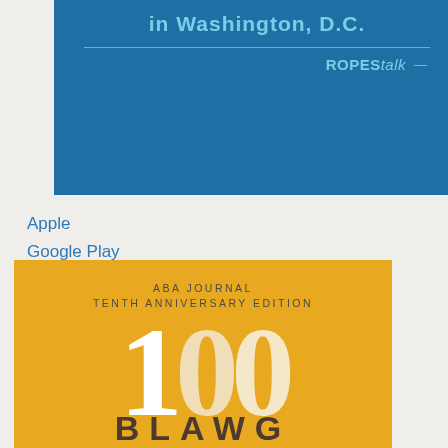[Figure (illustration): Blue banner with text 'in Washington, D.C.' and 'ROPEStalk' branding on blue background]
Apple
Google Play
Spotify
[Figure (illustration): Gold/yellow banner with 'ABA JOURNAL TENTH ANNIVERSARY EDITION' text, large '100' numeral, and partial 'BLAWG' text at bottom]